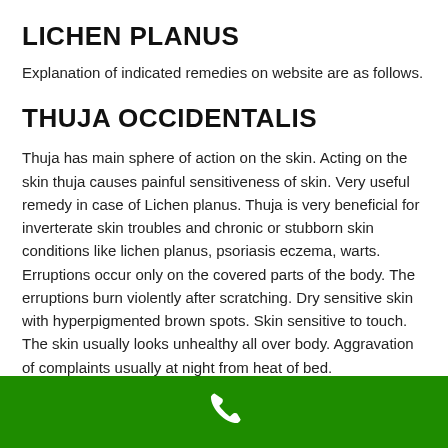LICHEN PLANUS
Explanation of indicated remedies on website are as follows.
THUJA OCCIDENTALIS
Thuja has main sphere of action on the skin. Acting on the skin thuja causes painful sensitiveness of skin. Very useful remedy in case of Lichen planus. Thuja is very beneficial for inverterate skin troubles and chronic or stubborn skin conditions like lichen planus, psoriasis eczema, warts. Erruptions occur only on the covered parts of the body. The erruptions burn violently after scratching. Dry sensitive skin with hyperpigmented brown spots. Skin sensitive to touch. The skin usually looks unhealthy all over body. Aggravation of complaints usually at night from heat of bed.
[Figure (other): Green footer bar with a white telephone/call icon in the center]